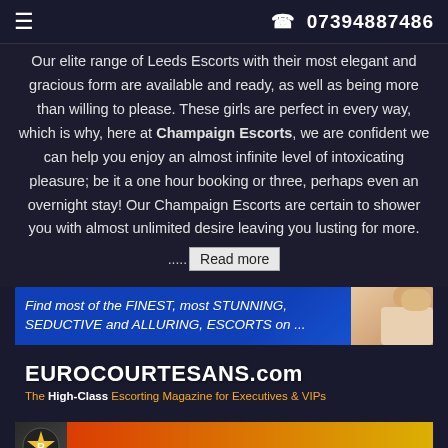☰  📞 07394887486
Our elite range of Leeds Escorts with their most elegant and gracious form are available and ready, as well as being more than willing to please. These girls are perfect in every way, which is why, here at Champaign Escorts, we are confident we can help you enjoy an almost infinite level of intoxicating pleasure; be it a one hour booking or three, perhaps even an overnight stay! Our Champaign Escorts are certain to shower you with almost unlimited desire leaving you lusting for more.
..... Read more
[Figure (infographic): Advertisement banner for EUROCOURTESANS.com - blue banner with text 'Find most of the FINEST, most STUNNING, SEDUCTIVE and ALLURING, ESCORTS on ...' and site name with tagline 'The High-Class Escorting Magazine for Executives & VIPs']
[Figure (infographic): Second advertisement banner showing a logo with a star and letter R on dark background]